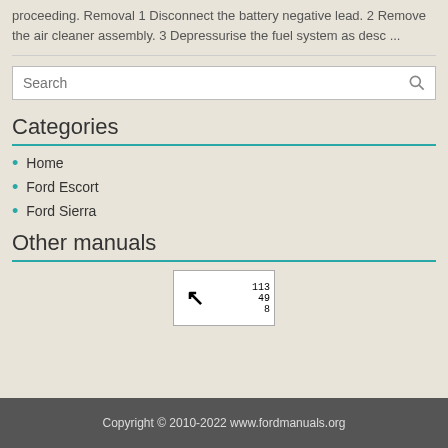proceeding. Removal 1 Disconnect the battery negative lead. 2 Remove the air cleaner assembly. 3 Depressurise the fuel system as desc ...
[Figure (screenshot): Search input box with magnifier icon]
Categories
Home
Ford Escort
Ford Sierra
Other manuals
[Figure (screenshot): Thumbnail image with arrow icon and numbers 113 49 8]
Copyright © 2010-2022 www.fordmanuals.org